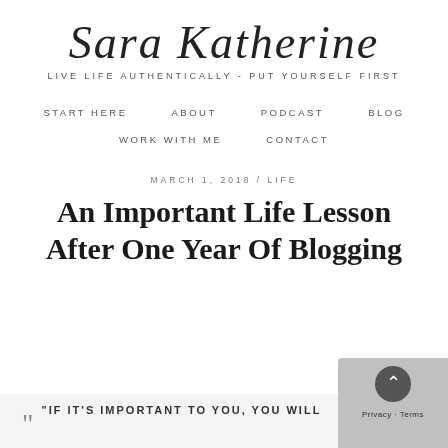Sara Katherine — LIVE LIFE AUTHENTICALLY - PUT YOURSELF FIRST
START HERE    ABOUT    PODCAST    BLOG    WORK WITH ME    CONTACT
MARCH 1, 2018 / LIFE
An Important Life Lesson After One Year Of Blogging
“IF IT’S IMPORTANT TO YOU, YOU WILL